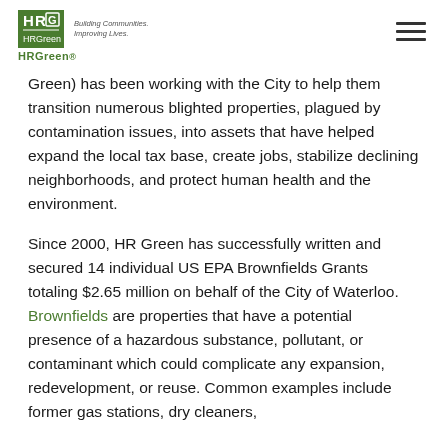HRGreen. Building Communities. Improving Lives.
Green) has been working with the City to help them transition numerous blighted properties, plagued by contamination issues, into assets that have helped expand the local tax base, create jobs, stabilize declining neighborhoods, and protect human health and the environment.
Since 2000, HR Green has successfully written and secured 14 individual US EPA Brownfields Grants totaling $2.65 million on behalf of the City of Waterloo. Brownfields are properties that have a potential presence of a hazardous substance, pollutant, or contaminant which could complicate any expansion, redevelopment, or reuse. Common examples include former gas stations, dry cleaners,